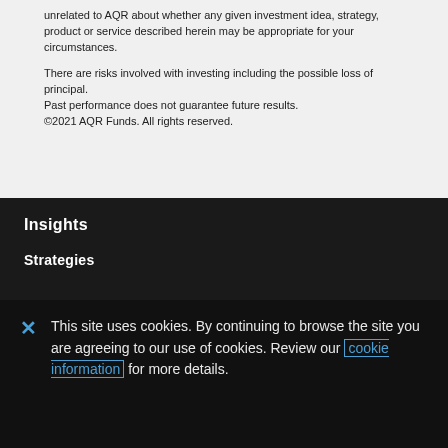unrelated to AQR about whether any given investment idea, strategy, product or service described herein may be appropriate for your circumstances.

There are risks involved with investing including the possible loss of principal.
Past performance does not guarantee future results.
©2021 AQR Funds. All rights reserved.
Insights
Strategies
This site uses cookies. By continuing to browse the site you are agreeing to our use of cookies. Review our cookie information for more details.